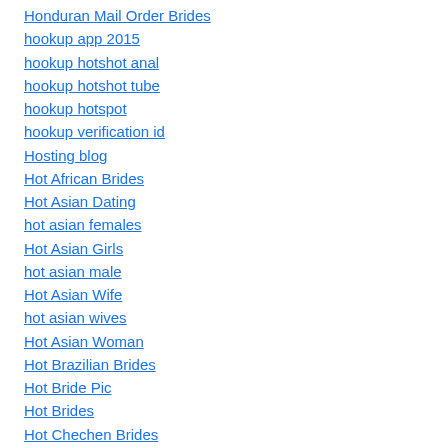Honduran Mail Order Brides
hookup app 2015
hookup hotshot anal
hookup hotshot tube
hookup hotspot
hookup verification id
Hosting blog
Hot African Brides
Hot Asian Dating
hot asian females
Hot Asian Girls
hot asian male
Hot Asian Wife
hot asian wives
Hot Asian Woman
Hot Brazilian Brides
Hot Bride Pic
Hot Brides
Hot Chechen Brides